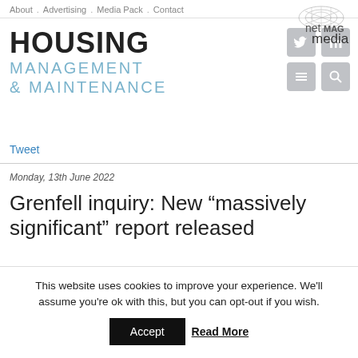About . Advertising . Media Pack . Contact
[Figure (logo): netMAG media logo with stylized wave/net graphic]
HOUSING MANAGEMENT & MAINTENANCE
[Figure (other): Social media icons: Twitter, LinkedIn, list/menu, search]
Tweet
Monday, 13th June 2022
Grenfell inquiry: New “massively significant” report released
This website uses cookies to improve your experience. We’ll assume you’re ok with this, but you can opt-out if you wish.